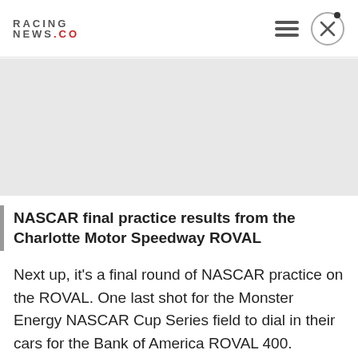RACING NEWS.CO
[Figure (other): Gray advertisement/image placeholder area]
NASCAR final practice results from the Charlotte Motor Speedway ROVAL
Next up, it's a final round of NASCAR practice on the ROVAL. One last shot for the Monster Energy NASCAR Cup Series field to dial in their cars for the Bank of America ROVAL 400.